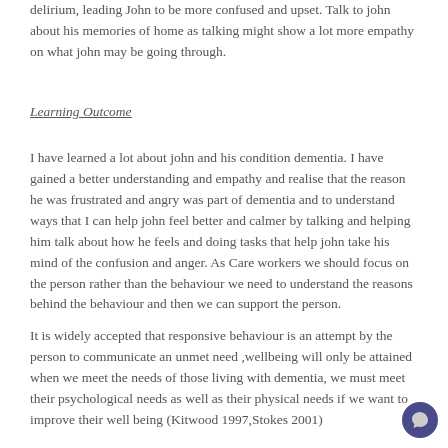delirium, leading John to be more confused and upset. Talk to john about his memories of home as talking might show a lot more empathy on what john may be going through.
Learning Outcome
I have learned a lot about john and his condition dementia. I have gained a better understanding and empathy and realise that the reason he was frustrated and angry was part of dementia and to understand ways that I can help john feel better and calmer by talking and helping him talk about how he feels and doing tasks that help john take his mind of the confusion and anger. As Care workers we should focus on the person rather than the behaviour we need to understand the reasons behind the behaviour and then we can support the person.
It is widely accepted that responsive behaviour is an attempt by the person to communicate an unmet need ,wellbeing will only be attained when we meet the needs of those living with dementia, we must meet their psychological needs as well as their physical needs if we want to improve their well being (Kitwood 1997,Stokes 2001)